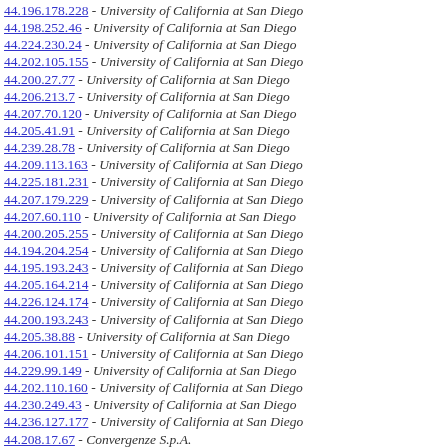44.196.178.228 - University of California at San Diego
44.198.252.46 - University of California at San Diego
44.224.230.24 - University of California at San Diego
44.202.105.155 - University of California at San Diego
44.200.27.77 - University of California at San Diego
44.206.213.7 - University of California at San Diego
44.207.70.120 - University of California at San Diego
44.205.41.91 - University of California at San Diego
44.239.28.78 - University of California at San Diego
44.209.113.163 - University of California at San Diego
44.225.181.231 - University of California at San Diego
44.207.179.229 - University of California at San Diego
44.207.60.110 - University of California at San Diego
44.200.205.255 - University of California at San Diego
44.194.204.254 - University of California at San Diego
44.195.193.243 - University of California at San Diego
44.205.164.214 - University of California at San Diego
44.226.124.174 - University of California at San Diego
44.200.193.243 - University of California at San Diego
44.205.38.88 - University of California at San Diego
44.206.101.151 - University of California at San Diego
44.229.99.149 - University of California at San Diego
44.202.110.160 - University of California at San Diego
44.230.249.43 - University of California at San Diego
44.236.127.177 - University of California at San Diego
44.208.17.67 - Convergenze S.p.A.
44.199.144.194 - University of California at San Diego
44.208.229.23 - Convergenze S.p.A.
44.239.218.12 - University of California at San Diego
44.204.153.202 - University of California at San Diego